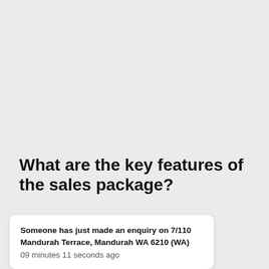What are the key features of the sales package?
Someone has just made an enquiry on 7/110 Mandurah Terrace, Mandurah WA 6210 (WA)
09 minutes 11 seconds ago